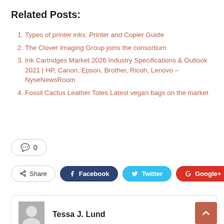Related Posts:
Types of printer inks: Printer and Copier Guide
The Clover Imaging Group joins the consortium
Ink Cartridges Market 2026 Industry Specifications & Outlook 2021 | HP, Canon, Epson, Brother, Ricoh, Lenovo – NyseNewsRoom
Fossil Cactus Leather Totes Latest vegan bags on the market
💬 0
Share  Facebook  Twitter  Google+  +
Tessa J. Lund